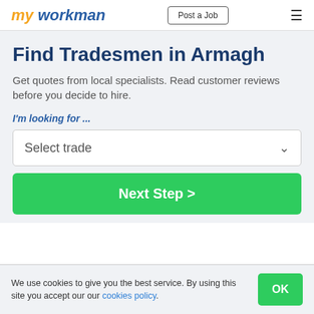my workman | Post a Job
Find Tradesmen in Armagh
Get quotes from local specialists. Read customer reviews before you decide to hire.
I'm looking for ...
Select trade
Next Step >
We use cookies to give you the best service. By using this site you accept our our cookies policy.